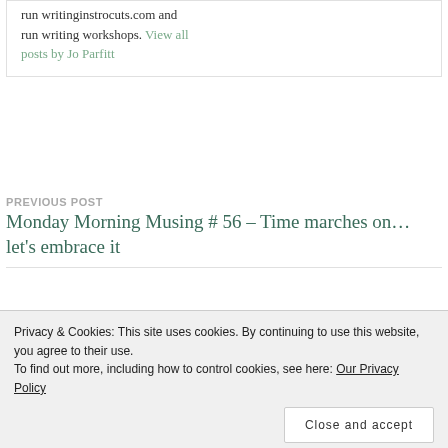run writinginstrocuts.com and run writing workshops. View all posts by Jo Parfitt
PREVIOUS POST
Monday Morning Musing # 56 – Time marches on… let's embrace it
NEXT POST
Monday Morning Musing #58 – Dear Jo, Yes indeed… 'round and round it goes'
Privacy & Cookies: This site uses cookies. By continuing to use this website, you agree to their use.
To find out more, including how to control cookies, see here: Our Privacy Policy
Close and accept
plugging back in